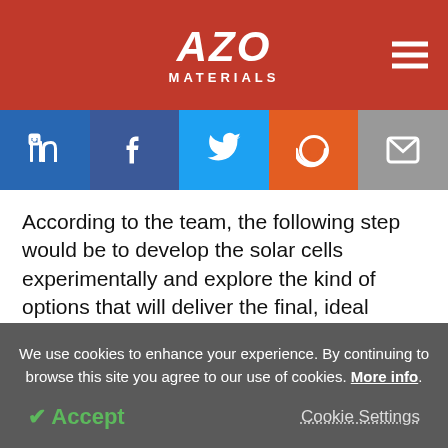AZO MATERIALS
[Figure (other): Social media sharing buttons: LinkedIn, Facebook, Twitter, Reddit, Email]
According to the team, the following step would be to develop the solar cells experimentally and explore the kind of options that will deliver the final, ideal answers.
The study’s first author is Faiz Ahmad, a doctoral
We use cookies to enhance your experience. By continuing to browse this site you agree to our use of cookies. More info.
Accept  Cookie Settings